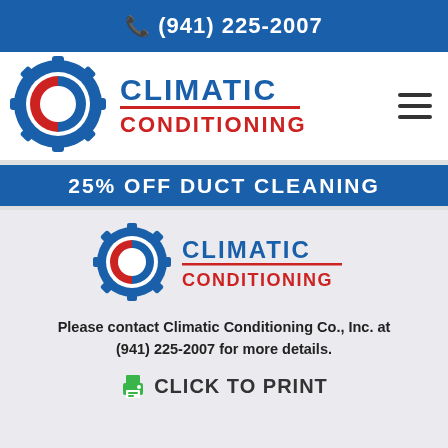(941) 225-2007
[Figure (logo): Climatic Conditioning logo with gear icon in red and blue, company name in bold blue and red text]
25% OFF DUCT CLEANING
[Figure (logo): Climatic Conditioning logo with gear icon in red and blue, company name in bold blue and red text (repeated in coupon area)]
Please contact Climatic Conditioning Co., Inc. at (941) 225-2007 for more details.
CLICK TO PRINT